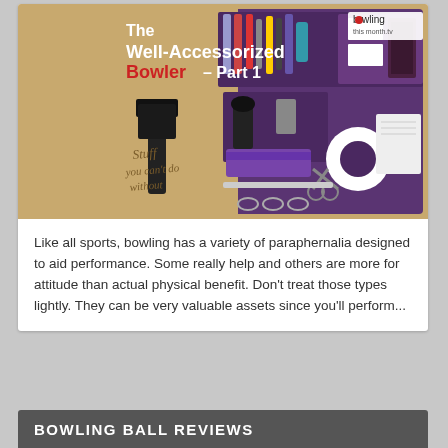[Figure (photo): Article header image titled 'The Well-Accessorized Bowler – Part 1' showing an open bowling accessory kit with various tools, with text 'Stuff you can't do without' overlaid. Branded with 'bowling this month' logo.]
Like all sports, bowling has a variety of paraphernalia designed to aid performance. Some really help and others are more for attitude than actual physical benefit. Don't treat those types lightly. They can be very valuable assets since you'll perform...
BOWLING BALL REVIEWS